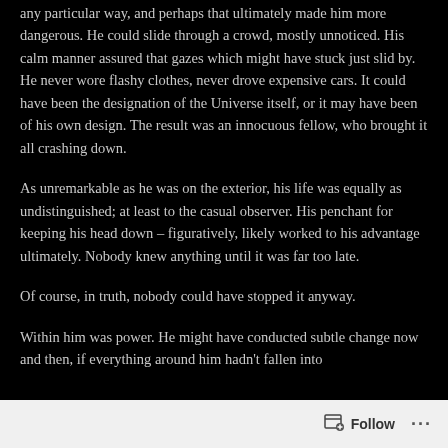any particular way, and perhaps that ultimately made him more dangerous. He could slide through a crowd, mostly unnoticed. His calm manner assured that gazes which might have stuck just slid by. He never wore flashy clothes, never drove expensive cars. It could have been the designation of the Universe itself, or it may have been of his own design. The result was an innocuous fellow, who brought it all crashing down.
As unremarkable as he was on the exterior, his life was equally as undistinguished; at least to the casual observer. His penchant for keeping his head down – figuratively, likely worked to his advantage ultimately. Nobody knew anything until it was far too late.
Of course, in truth, nobody could have stopped it anyway.
Within him was power. He might have conducted subtle change now and then, if everything around him hadn't fallen into
Follow